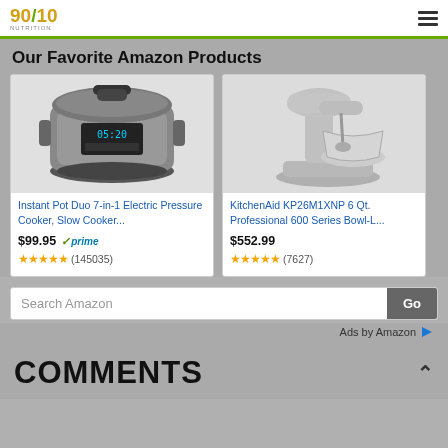90/10 Nutrition | Our Favorite Amazon Products
Our Favorite Amazon Products
[Figure (photo): Instant Pot Duo 7-in-1 Electric Pressure Cooker product image]
Instant Pot Duo 7-in-1 Electric Pressure Cooker, Slow Cooker...
$99.95 ✓prime
★★★★★ (145035)
[Figure (photo): KitchenAid KP26M1XNP 6 Qt. Professional 600 Series Bowl-Lift Stand Mixer product image]
KitchenAid KP26M1XNP 6 Qt. Professional 600 Series Bowl-L...
$552.99
★★★★★ (7627)
Search Amazon
Ads by Amazon
COMMENTS